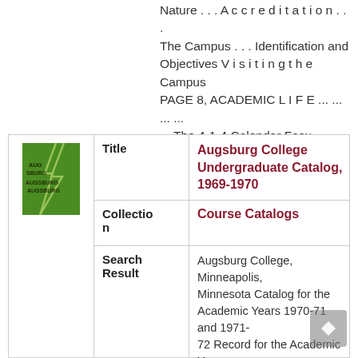Nature . . . A c c r e d i t a t i o n . . . The Campus . . . Identification and Objectives V i s i t i n g t h e Campus PAGE 8, ACADEMIC L I F E ... ... ... ... ... The 4-1-4 Calendar Facu...
Show more
[Figure (other): Green book cover thumbnail for Augsburg College Undergraduate Catalog]
| Field | Value |
| --- | --- |
| Title | Augsburg College Undergraduate Catalog, 1969-1970 |
| Collection | Course Catalogs |
| Search Result | Augsburg College, Minneapolis, Minnesota Catalog for the Academic Years 1970-71 and 1971-72 Record for the Academic Years 1968-69 and 1969-70 I I FIRST SUMMER SESSION 1970 June 8 . . . . . . . . . . . . . . . . . . Mon. ………………… Fri. Final registration and beginning of cl... |
Show more